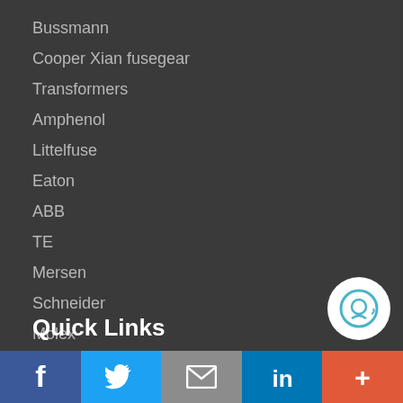Bussmann
Cooper Xian fusegear
Transformers
Amphenol
Littelfuse
Eaton
ABB
TE
Mersen
Schneider
Molex
Solution Manufacturers
Quick Links
[Figure (other): Social media share bar with Facebook, Twitter, Email, LinkedIn, and More buttons]